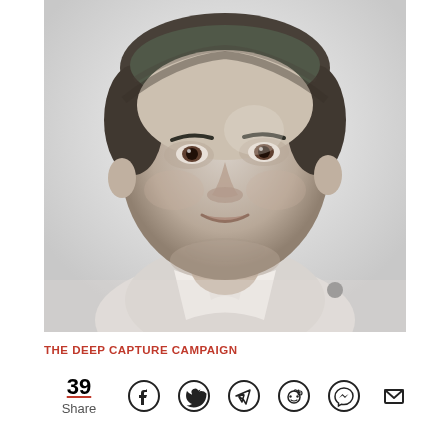[Figure (photo): Black and white headshot photo of a man with short dark hair, smiling slightly, wearing a collared shirt. The image is a close-up portrait against a light background.]
THE DEEP CAPTURE CAMPAIGN
39 Share